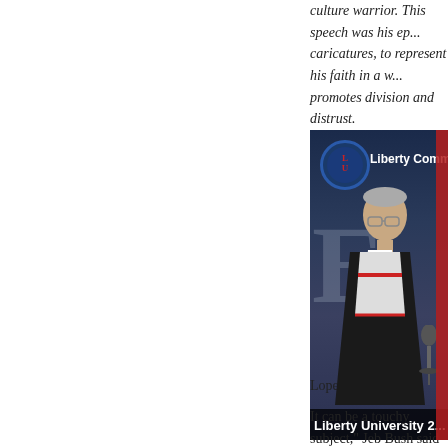culture warrior. This speech was his ep... caricatures, to represent his faith in a w... promotes division and distrust.
[Figure (photo): Jeb Bush speaking at Liberty University commencement ceremony, wearing academic regalia (black robe with white and red trim), with Liberty Commencement text overlay and Liberty University logo.]
Lopez writes:
It can be a touchy subject,” Jeb Bush said du... University this weekend. “I am asked someti... decisions in government to be influenced b...